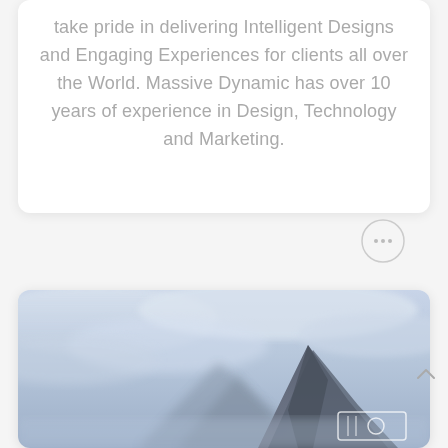take pride in delivering Intelligent Designs and Engaging Experiences for clients all over the World. Massive Dynamic has over 10 years of experience in Design, Technology and Marketing.
[Figure (illustration): A circular button with three dots (chat/comment icon) inside a thin circle outline]
[Figure (photo): A landscape photo showing a mountain peak with moody cloudy sky in blue-grey tones, with a small icon/logo in the bottom right corner]
[Figure (illustration): A back-to-top chevron arrow pointing upward, in grey]